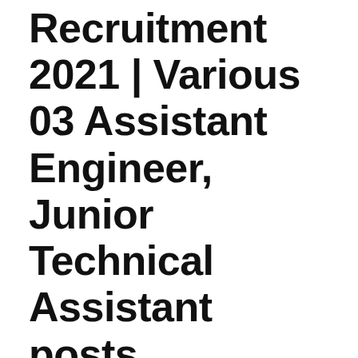Recruitment 2021 | Various 03 Assistant Engineer, Junior Technical Assistant posts
Last updated on: April 22nd, 2021 at 12:45 pm
Edited by: Sathish Kumar
[Figure (other): JOIN WHATSAPP GROUP button (green), JOIN TELEGRAM GROUP button (blue), JOIN FACEBOOK button (blue) — social media call-to-action buttons]
GROUP
GROUP